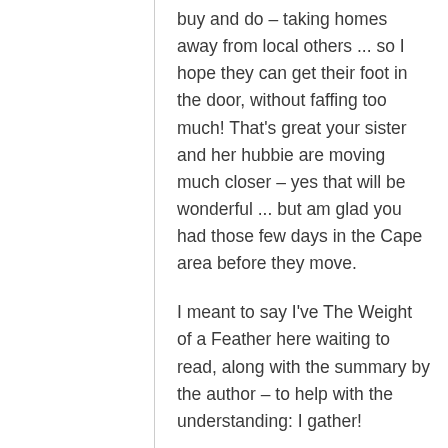buy and do – taking homes away from local others ... so I hope they can get their foot in the door, without faffing too much! That's great your sister and her hubbie are moving much closer – yes that will be wonderful ... but am glad you had those few days in the Cape area before they move.
I meant to say I've The Weight of a Feather here waiting to read, along with the summary by the author – to help with the understanding: I gather!
Some sun at last ... you too have a